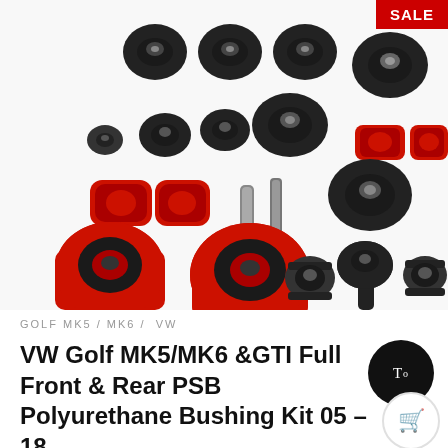[Figure (photo): Product photo of a complete polyurethane bushing kit showing multiple black and red bushings of various sizes arranged on a white background. Includes large and small cylindrical bushings, sway bar bushings (red), and various other suspension components. A red SALE badge appears in the top-right corner.]
GOLF MK5 / MK6 / VW
VW Golf MK5/MK6 &GTI Full Front & Rear PSB Polyurethane Bushing Kit 05 – 18